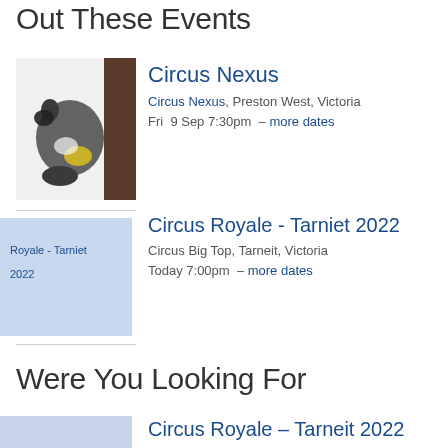Out These Events
[Figure (photo): A circus performer in a contorted backbend pose wearing a dark costume against a white background, with a dark wood panel visible on the right side.]
Circus Nexus
Circus Nexus, Preston West, Victoria
Fri  9 Sep 7:30pm  – more dates
[Figure (other): Placeholder image area for Circus Royale - Tarniet 2022 showing text overlay with event title]
Circus Royale - Tarniet 2022
Circus Big Top, Tarneit, Victoria
Today 7:00pm  – more dates
Were You Looking For
[Figure (photo): Partial listing image at bottom of page for another Circus Royale event]